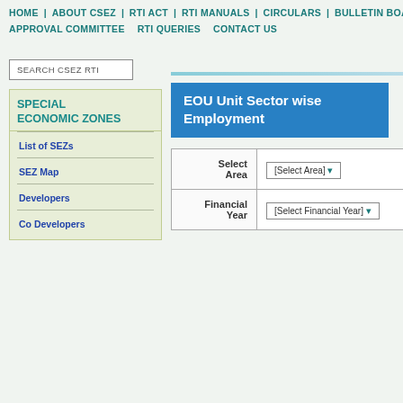HOME | ABOUT CSEZ | RTI ACT | RTI MANUALS | CIRCULARS | BULLETIN BOARD
APPROVAL COMMITTEE | RTI QUERIES | CONTACT US
SEARCH CSEZ RTI
EOU Unit Sector wise Employment
SPECIAL ECONOMIC ZONES
List of SEZs
SEZ Map
Developers
Co Developers
| Select Area | [Select Area] ▾ |
| --- | --- |
| Financial Year | [Select Financial Year] ▾ |